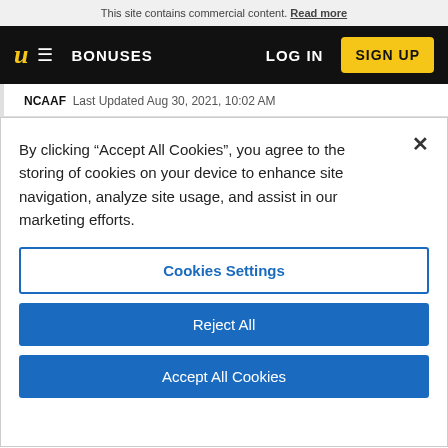This site contains commercial content. Read more
U BONUSES LOG IN SIGN UP
NCAAF  Last Updated Aug 30, 2021, 10:02 AM
By clicking “Accept All Cookies”, you agree to the storing of cookies on your device to enhance site navigation, analyze site usage, and assist in our marketing efforts.
Cookies Settings
Reject All
Accept All Cookies